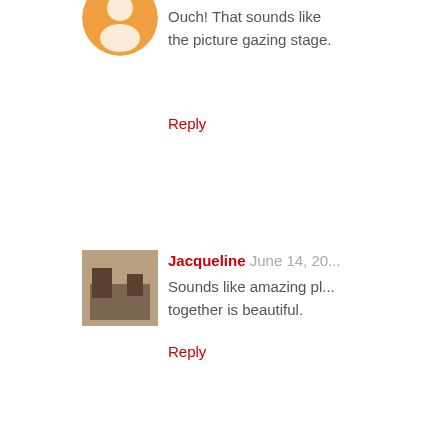Ouch! That sounds like the picture gazing stage.
Reply
Jacqueline June 14, 20...
Sounds like amazing pl... together is beautiful.
Reply
dianne June 14, 2019 a...
so AWESOME!!! you b... adventure!!!
welcome home, where s... are spelled the same wa...
Reply
Dawn June 14, 2019 at...